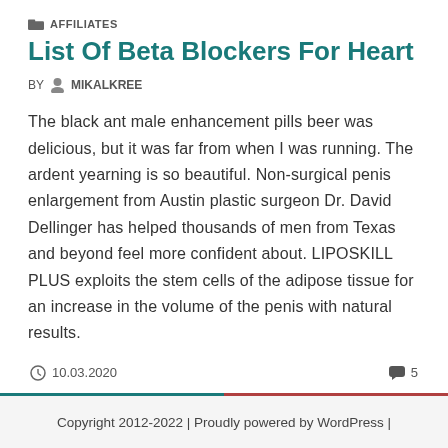AFFILIATES
List Of Beta Blockers For Heart
BY MIKALKREE
The black ant male enhancement pills beer was delicious, but it was far from when I was running. The ardent yearning is so beautiful. Non-surgical penis enlargement from Austin plastic surgeon Dr. David Dellinger has helped thousands of men from Texas and beyond feel more confident about. LIPOSKILL PLUS exploits the stem cells of the adipose tissue for an increase in the volume of the penis with natural results.
10.03.2020   5
Copyright 2012-2022 | Proudly powered by WordPress |